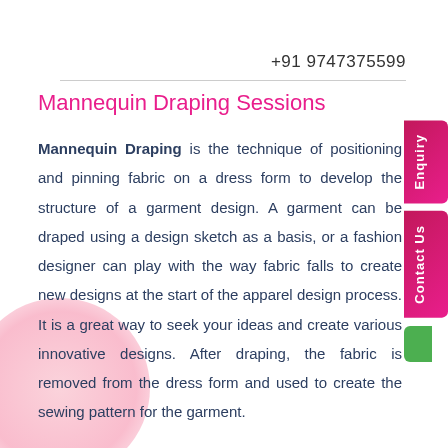+91 9747375599
Mannequin Draping Sessions
Mannequin Draping is the technique of positioning and pinning fabric on a dress form to develop the structure of a garment design. A garment can be draped using a design sketch as a basis, or a fashion designer can play with the way fabric falls to create new designs at the start of the apparel design process. It is a great way to seek your ideas and create various innovative designs. After draping, the fabric is removed from the dress form and used to create the sewing pattern for the garment.